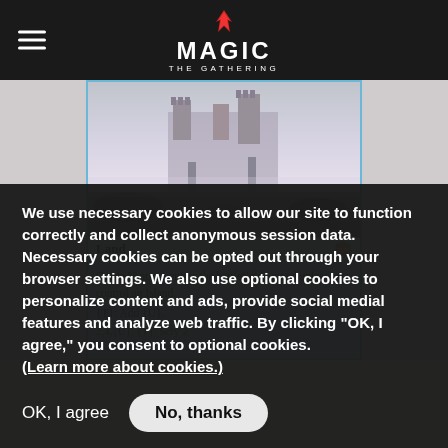Magic: The Gathering
[Figure (screenshot): Magic: The Gathering card showing Castle Vantress. Card type line reads 'Land'. Text box reads: 'Castle Vantress enters the battlefield tapped unless you control an Island. T: Add U. 2,4,U, T: Scry 2']
We use necessary cookies to allow our site to function correctly and collect anonymous session data. Necessary cookies can be opted out through your browser settings. We also use optional cookies to personalize content and ads, provide social medial features and analyze web traffic. By clicking "OK, I agree," you consent to optional cookies. (Learn more about cookies.)
OK, I agree
No, thanks